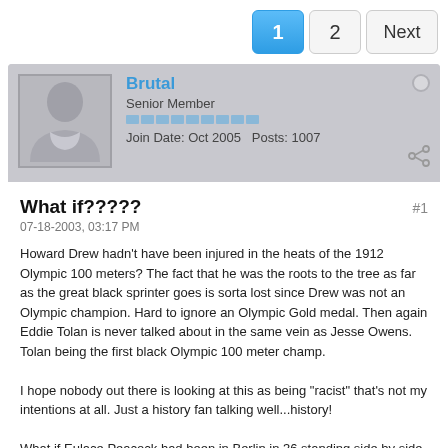1  2  Next
Brutal
Senior Member
Join Date: Oct 2005   Posts: 1007
What if?????
07-18-2003, 03:17 PM
Howard Drew hadn't have been injured in the heats of the 1912 Olympic 100 meters? The fact that he was the roots to the tree as far as the great black sprinter goes is sorta lost since Drew was not an Olympic champion. Hard to ignore an Olympic Gold medal. Then again Eddie Tolan is never talked about in the same vein as Jesse Owens. Tolan being the first black Olympic 100 meter champ.

I hope nobody out there is looking at this as being "racist" that's not my intentions at all. Just a history fan talking well...history!

What if Eulace Peacock had been in Berlin in 36 standing side by side with Jesse Owens? Peacock like Drew had an injury stand in the way of his Olympic dream.

Like Drew and Peacock Northwesterns Jim Golliday was also felled by